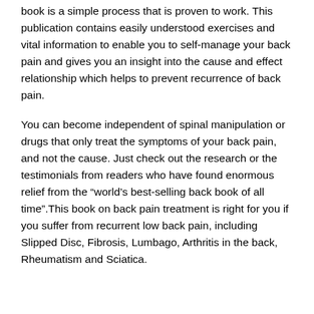book is a simple process that is proven to work. This publication contains easily understood exercises and vital information to enable you to self-manage your back pain and gives you an insight into the cause and effect relationship which helps to prevent recurrence of back pain.
You can become independent of spinal manipulation or drugs that only treat the symptoms of your back pain, and not the cause. Just check out the research or the testimonials from readers who have found enormous relief from the “world’s best-selling back book of all time”.This book on back pain treatment is right for you if you suffer from recurrent low back pain, including Slipped Disc, Fibrosis, Lumbago, Arthritis in the back, Rheumatism and Sciatica.